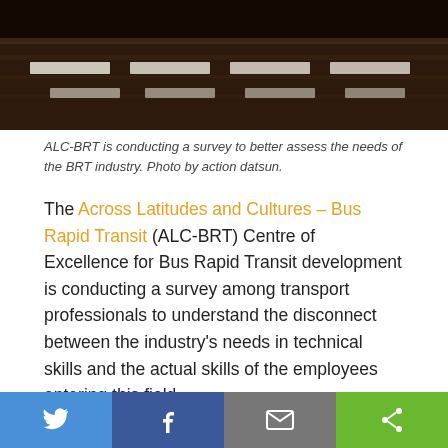[Figure (photo): Aerial or close-up view of a road/bus lane with white markings on dark pavement surface.]
ALC-BRT is conducting a survey to better assess the needs of the BRT industry. Photo by action datsun.
The Across Latitudes and Cultures – Bus Rapid Transit (ALC-BRT) Centre of Excellence for Bus Rapid Transit development is conducting a survey among transport professionals to understand the disconnect between the industry's needs in technical skills and the actual skills of the employees entering this field.
The Centre of Excellence, based in Santiago, Chile, was established in May 2010 as a consortium between Pontificia Universidad Católica de Chile, Massachusetts Institute of Technology, Technical University of Lisbon
Twitter | Facebook | Email | Share